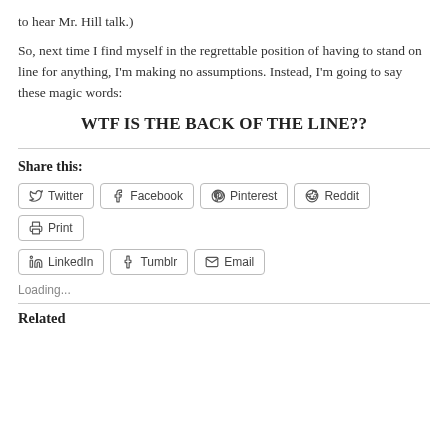to hear Mr. Hill talk.)
So, next time I find myself in the regrettable position of having to stand on line for anything, I'm making no assumptions. Instead, I'm going to say these magic words:
WTF IS THE BACK OF THE LINE??
Share this:
Twitter  Facebook  Pinterest  Reddit  Print  LinkedIn  Tumblr  Email
Loading...
Related